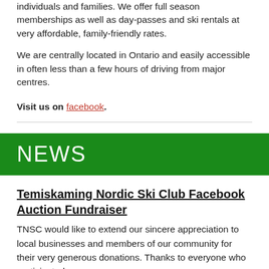individuals and families. We offer full season memberships as well as day-passes and ski rentals at very affordable, family-friendly rates.
We are centrally located in Ontario and easily accessible in often less than a few hours of driving from major centres.
Visit us on facebook.
NEWS
Temiskaming Nordic Ski Club Facebook Auction Fundraiser
TNSC would like to extend our sincere appreciation to local businesses and members of our community for their very generous donations.  Thanks to everyone who participated